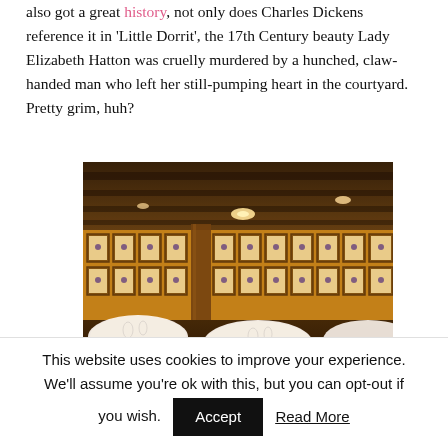also got a great history, not only does Charles Dickens reference it in 'Little Dorrit', the 17th Century beauty Lady Elizabeth Hatton was cruelly murdered by a hunched, claw-handed man who left her still-pumping heart in the courtyard. Pretty grim, huh?
[Figure (photo): Interior of a restaurant with round tables covered in white tablecloths, dark wood ceiling beams, warm lighting, and walls lined with framed botanical grape prints.]
This website uses cookies to improve your experience. We'll assume you're ok with this, but you can opt-out if you wish. Accept Read More